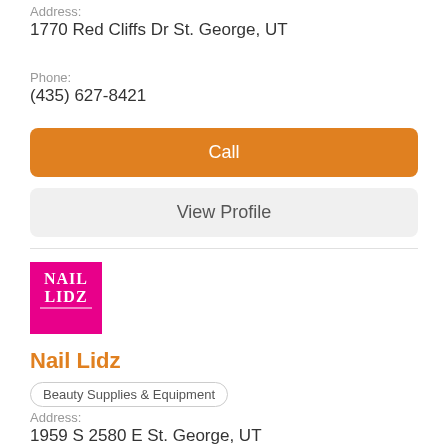Address:
1770 Red Cliffs Dr St. George, UT
Phone:
(435) 627-8421
Call
View Profile
[Figure (logo): Nail Lidz logo - pink/magenta square background with white text reading NAIL LIDZ]
Nail Lidz
Beauty Supplies & Equipment
Address:
1959 S 2580 E St. George, UT
Phone:
(801) 841-4900
Call